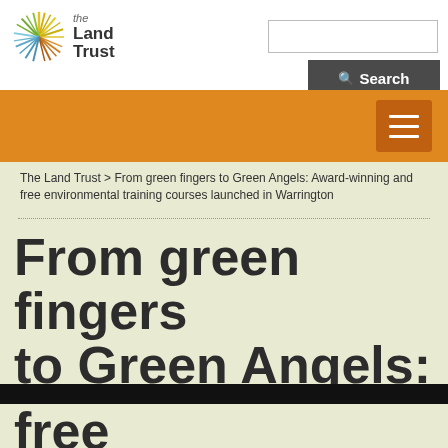[Figure (logo): The Land Trust logo with starburst/firework graphic and text 'the Land Trust']
The Land Trust > From green fingers to Green Angels: Award-winning and free environmental training courses launched in Warrington
From green fingers to Green Angels: free environmental